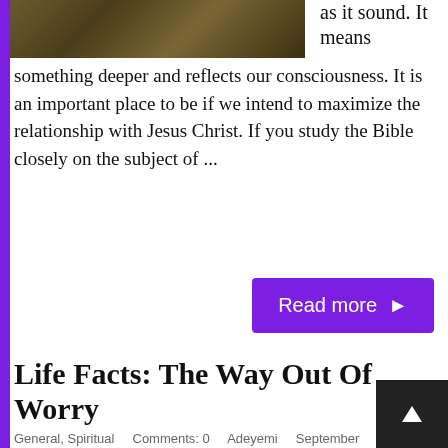[Figure (photo): Partial view of a brown/earth-toned image, appears to be a Bible or book with flowers/foliage]
as it sound. It means something deeper and reflects our consciousness. It is an important place to be if we intend to maximize the relationship with Jesus Christ. If you study the Bible closely on the subject of ...
Read more ▶
Life Facts: The Way Out Of Worry
General, Spiritual   Comments: 0   Adeyemi   September 30, 2020